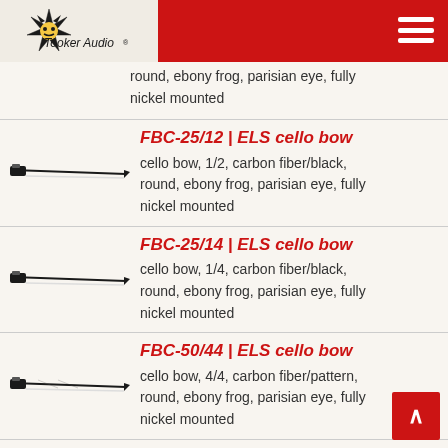Tooker Audio - navigation header with logo and menu
round, ebony frog, parisian eye, fully nickel mounted
FBC-25/12 | ELS cello bow
cello bow, 1/2, carbon fiber/black, round, ebony frog, parisian eye, fully nickel mounted
FBC-25/14 | ELS cello bow
cello bow, 1/4, carbon fiber/black, round, ebony frog, parisian eye, fully nickel mounted
FBC-50/44 | ELS cello bow
cello bow, 4/4, carbon fiber/pattern, round, ebony frog, parisian eye, fully nickel mounted